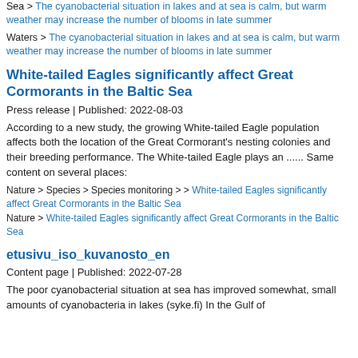Sea > The cyanobacterial situation in lakes and at sea is calm, but warm weather may increase the number of blooms in late summer
Waters > The cyanobacterial situation in lakes and at sea is calm, but warm weather may increase the number of blooms in late summer
White-tailed Eagles significantly affect Great Cormorants in the Baltic Sea
Press release | Published: 2022-08-03
According to a new study, the growing White-tailed Eagle population affects both the location of the Great Cormorant's nesting colonies and their breeding performance. The White-tailed Eagle plays an ...... Same content on several places:
Nature > Species > Species monitoring > > White-tailed Eagles significantly affect Great Cormorants in the Baltic Sea
Nature > White-tailed Eagles significantly affect Great Cormorants in the Baltic Sea
etusivu_iso_kuvanosto_en
Content page | Published: 2022-07-28
The poor cyanobacterial situation at sea has improved somewhat, small amounts of cyanobacteria in lakes (syke.fi) In the Gulf of